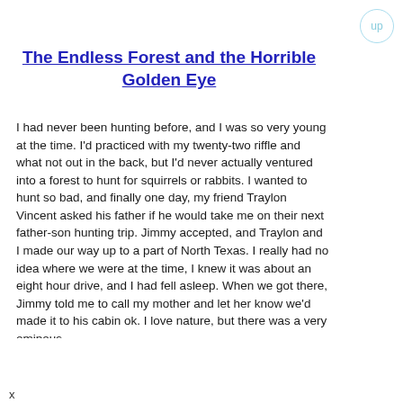up
The Endless Forest and the Horrible Golden Eye
I had never been hunting before, and I was so very young at the time. I'd practiced with my twenty-two riffle and what not out in the back, but I'd never actually ventured into a forest to hunt for squirrels or rabbits. I wanted to hunt so bad, and finally one day, my friend Traylon Vincent asked his father if he would take me on their next father-son hunting trip. Jimmy accepted, and Traylon and I made our way up to a part of North Texas. I really had no idea where we were at the time, I knew it was about an eight hour drive, and I had fell asleep. When we got there, Jimmy told me to call my mother and let her know we'd made it to his cabin ok. I love nature, but there was a very ominous
x